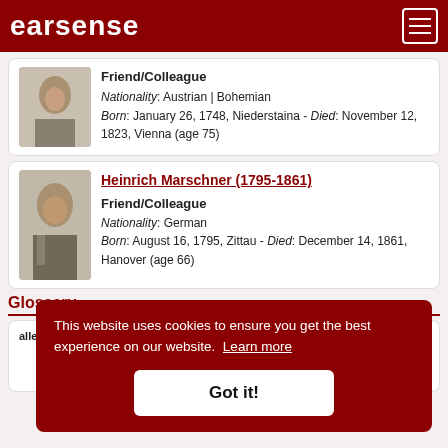earsense
Friend/Colleague
Nationality: Austrian | Bohemian
Born: January 26, 1748, Niederstaina - Died: November 12, 1823, Vienna (age 75)
Heinrich Marschner (1795-1861)
Friend/Colleague
Nationality: German
Born: August 16, 1795, Zittau - Died: December 14, 1861, Hanover (age 66)
Glossary
allegro [I]—fast, lively tempo. From the Italian word for cheerful or gay.
This website uses cookies to ensure you get the best experience on our website. Learn more
Got it!